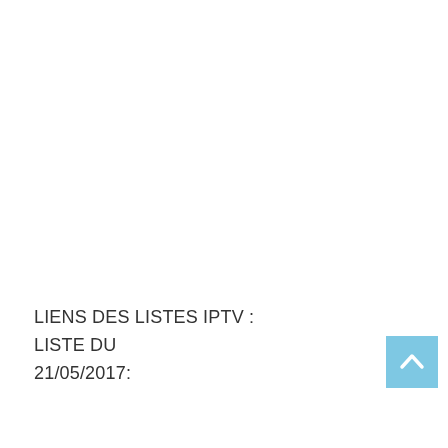LIENS DES LISTES IPTV :
LISTE DU
21/05/2017:
[Figure (other): Light blue scroll-to-top button with white upward chevron arrow]